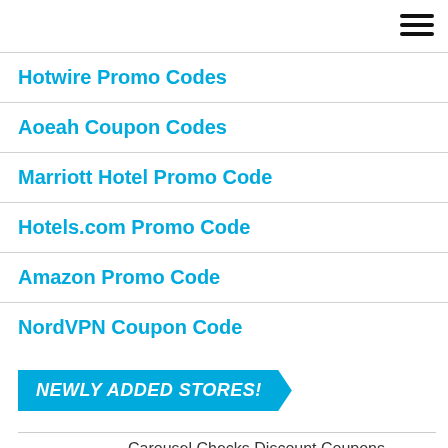[Figure (other): Hamburger menu icon (three horizontal lines) in top-right corner]
Hotwire Promo Codes
Aoeah Coupon Codes
Marriott Hotel Promo Code
Hotels.com Promo Code
Amazon Promo Code
NordVPN Coupon Code
[Figure (other): Blue banner with italic bold white text: NEWLY ADDED STORES!]
Carousel Checks Discount Coupons
[Figure (logo): Partially visible Carousel Checks logo with dark red 'usc' text and grey 'SEL' text below]